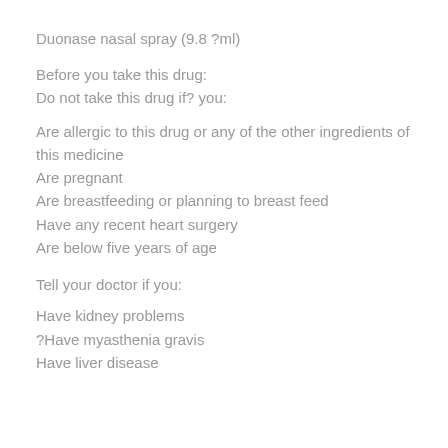Duonase nasal spray (9.8 ?ml)
Before you take this drug:
Do not take this drug if? you:
Are allergic to this drug or any of the other ingredients of this medicine
Are pregnant
Are breastfeeding or planning to breast feed
Have any recent heart surgery
Are below five years of age
Tell your doctor if you:
Have kidney problems
?Have myasthenia gravis
Have liver disease